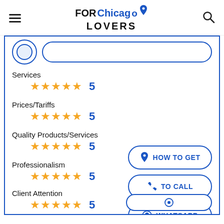FOR Chicago LOVERS
Services
★★★★★ 5
Prices/Tariffs
★★★★★ 5
Quality Products/Services
★★★★★ 5
Professionalism
★★★★★ 5
Client Attention
★★★★★ 5
HOW TO GET
TO CALL
WHATSAPP